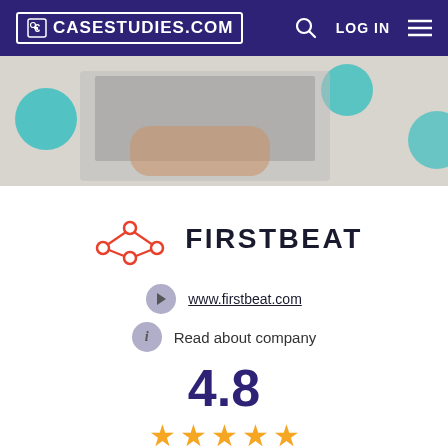CASESTUDIES.COM  LOG IN
[Figure (photo): Hero banner with a person typing on a laptop, viewed from above, with teal circle decorations]
[Figure (logo): Firstbeat logo with red network/node icon and bold FIRSTBEAT text]
www.firstbeat.com
Read about company
4.8
(736 Ratings)